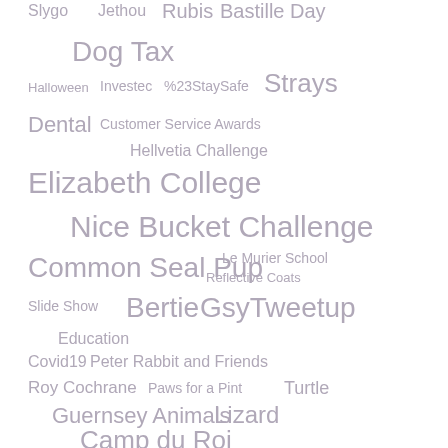[Figure (infographic): A word/tag cloud containing various terms in different font sizes, all rendered in a muted grayish-purple color on white background. Terms include: Slygo, Jethou, Rubis, Bastille Day, Dog Tax, Halloween, Investec, %23StaySafe, Strays, Dental, Customer Service Awards, Hellvetia Challenge, Elizabeth College, Nice Bucket Challenge, Common Seal Pup, Le Murier School, Reflective Coats, Slide Show, Bertie, GsyTweetup, Education, Covid19, Peter Rabbit and Friends, Roy Cochrane, Paws for a Pint, Turtle, Guernsey Animals, Lizard, Camp du Roi, Ice, Budgie, Les Cotils, Vancancy, Microchipp, Ladies Luncheon]